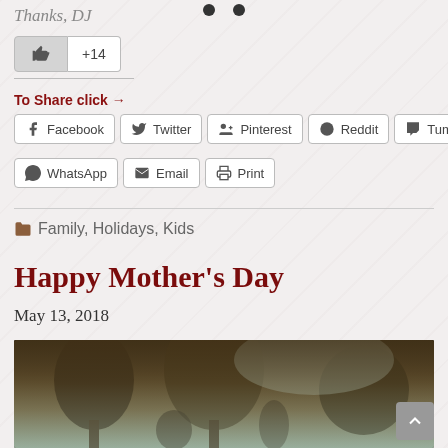Thanks, DJ
[Figure (screenshot): Like button with +14 count]
To Share click →
[Figure (screenshot): Social share buttons: Facebook, Twitter, Pinterest, Reddit, Tumblr, WhatsApp, Email, Print]
Family, Holidays, Kids
Happy Mother's Day
May 13, 2018
[Figure (photo): An old vintage photograph showing outdoor scene with trees/figures]